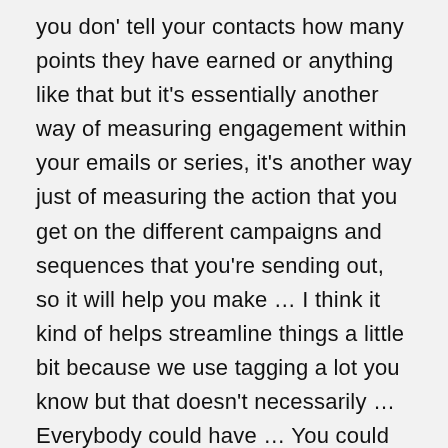you don' tell your contacts how many points they have earned or anything like that but it's essentially another way of measuring engagement within your emails or series, it's another way just of measuring the action that you get on the different campaigns and sequences that you're sending out, so it will help you make … I think it kind of helps streamline things a little bit because we use tagging a lot you know but that doesn't necessarily … Everybody could have … You could have 10 people that have the same tag but you don't know if person three versus person ten is way more engaged in the content, might be a little bit